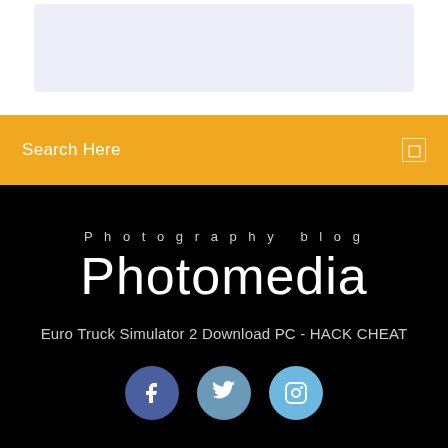[Figure (screenshot): Light lavender/grey rectangle placeholder image area at top of page]
Search Here
Photography blog
Photomedia
Euro Truck Simulator 2 Download PC - HACK CHEAT
[Figure (illustration): Three social media icon circles: Facebook (dark blue), Twitter (medium blue), Instagram (light blue)]